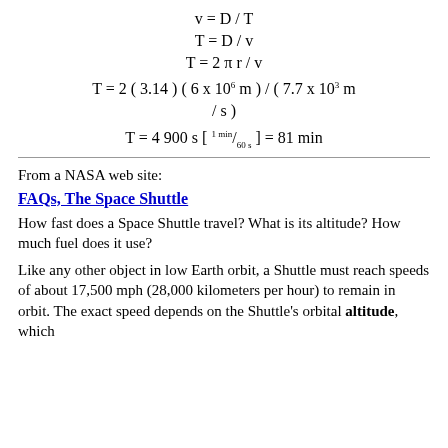From a NASA web site:
FAQs, The Space Shuttle
How fast does a Space Shuttle travel? What is its altitude? How much fuel does it use?
Like any other object in low Earth orbit, a Shuttle must reach speeds of about 17,500 mph (28,000 kilometers per hour) to remain in orbit. The exact speed depends on the Shuttle's orbital altitude, which